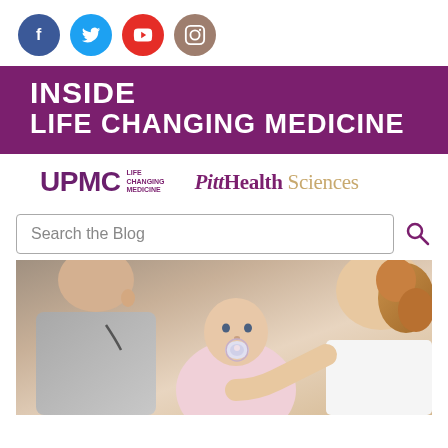[Figure (logo): Social media icons row: Facebook (dark blue circle), Twitter (light blue circle), YouTube (red circle), Instagram (taupe/brown circle)]
[Figure (logo): Purple banner with white bold text reading INSIDE LIFE CHANGING MEDICINE]
[Figure (logo): UPMC Life Changing Medicine logo and Pitt Health Sciences logo side by side]
[Figure (screenshot): Search the Blog input box with magnifying glass icon]
[Figure (photo): Photo of a baby with a pacifier being held, with a doctor or caregiver in background]